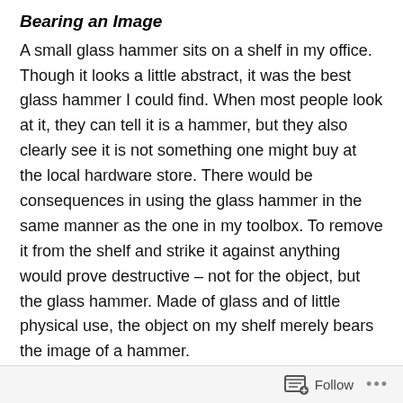Bearing an Image
A small glass hammer sits on a shelf in my office. Though it looks a little abstract, it was the best glass hammer I could find. When most people look at it, they can tell it is a hammer, but they also clearly see it is not something one might buy at the local hardware store. There would be consequences in using the glass hammer in the same manner as the one in my toolbox. To remove it from the shelf and strike it against anything would prove destructive – not for the object, but the glass hammer. Made of glass and of little physical use, the object on my shelf merely bears the image of a hammer.
A Reminder
This hammer stays in my office to remind me of Genesis 3. Through the person and work of Jesus Christ, the image
Follow